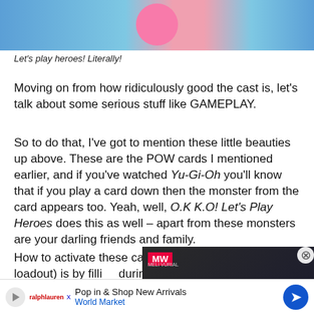[Figure (screenshot): Game screenshot showing a colorful fighting game scene with a pink blob character in the center against a blue background]
Let's play heroes! Literally!
Moving on from how ridiculously good the cast is, let's talk about some serious stuff like GAMEPLAY.
So to do that, I've got to mention these little beauties up above. These are the POW cards I mentioned earlier, and if you've watched Yu-Gi-Oh you'll know that if you play a card down then the monster from the card appears too. Yeah, well, O.K K.O! Let's Play Heroes does this as well – apart from these monsters are your darling friends and family.
How to activate these cards (th... characters per loadout) is by filli... during fighting your robotic ene... kicked by them, either one works... do this, press the triangle or circle button (or vice versa) and the cha... 'owie', aka th... h!
[Figure (screenshot): Video overlay for Dead Island 2 Release Date from MW (Meli Vurial) with a play button]
[Figure (other): Advertisement banner: Pop in & Shop New Arrivals - World Market]